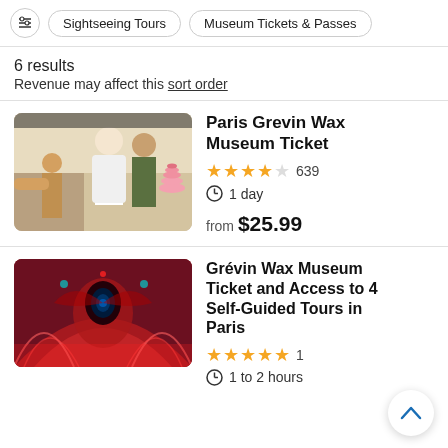Sightseeing Tours | Museum Tickets & Passes
6 results
Revenue may affect this sort order
[Figure (photo): Photo of people at a wax museum, including a chef figure and a woman reacting with surprise, with a pink macaron tower in the background.]
Paris Grevin Wax Museum Ticket
4.5 stars, 639 reviews, 1 day, from $25.99
[Figure (photo): Ornate red-lit interior of the Grévin Wax Museum with decorative architectural details.]
Grévin Wax Museum Ticket and Access to 4 Self-Guided Tours in Paris
5 stars, 1 review, 1 to 2 hours